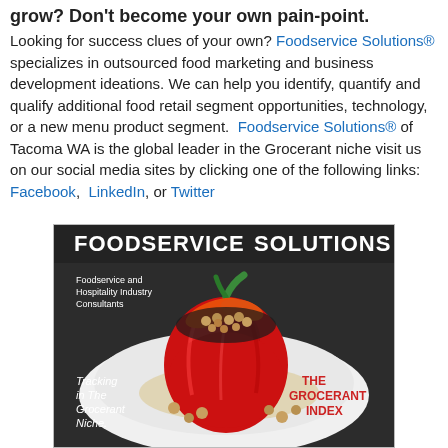grow? Don't become your own pain-point. Looking for success clues of your own? Foodservice Solutions® specializes in outsourced food marketing and business development ideations. We can help you identify, quantify and qualify additional food retail segment opportunities, technology, or a new menu product segment. Foodservice Solutions® of Tacoma WA is the global leader in the Grocerant niche visit us on our social media sites by clicking one of the following links: Facebook, LinkedIn, or Twitter
[Figure (photo): Foodservice Solutions advertisement image showing a stuffed red bell pepper on a white plate with 'FOODSERVICE SOLUTIONS' text at top, 'Foodservice and Hospitality Industry Consultants' subtitle, 'Tracking in The Grocerant Niche.' lower left text, and 'THE GROCERANT INDEX' in red lower right.]